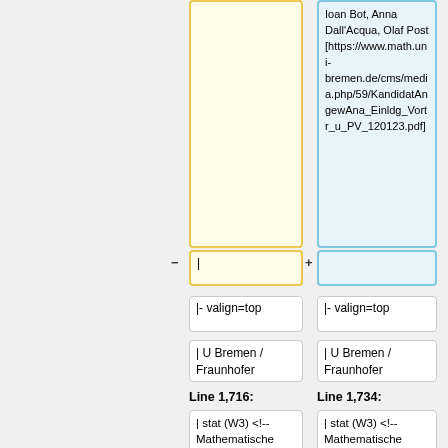Ioan Bot, Anna Dall'Acqua, Olaf Post [https://www.math.uni-bremen.de/cms/media.php/59/KandidatAngewAna_Einldg_Vortr_u_PV_120123.pdf]
- |
+
|- valign=top
|- valign=top
| U Bremen / Fraunhofer
| U Bremen / Fraunhofer
Line 1,716:
Line 1,734:
| stat (W3) <!-- Mathematische Statistik, P4/13 -->
| stat (W3) <!-- Mathematische Statistik, P4/13 -->
| Jul 15, 2013
| Jul 15, 2013